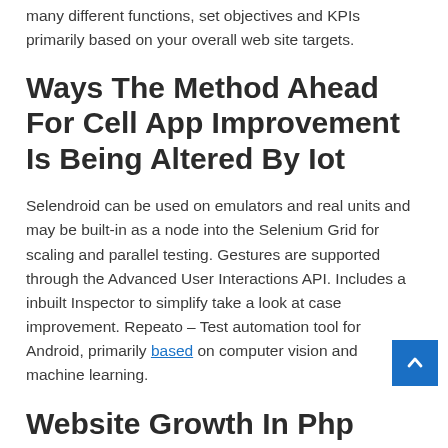strategy. Because a content strategy can serve so many different functions, set objectives and KPIs primarily based on your overall web site targets.
Ways The Method Ahead For Cell App Improvement Is Being Altered By Iot
Selendroid can be used on emulators and real units and may be built-in as a node into the Selenium Grid for scaling and parallel testing. Gestures are supported through the Advanced User Interactions API. Includes a inbuilt Inspector to simplify take a look at case improvement. Repeato – Test automation tool for Android, primarily based on computer vision and machine learning.
Website Growth In Php